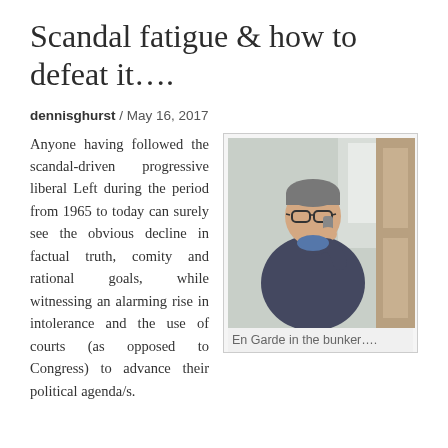Scandal fatigue & how to defeat it….
dennisghurst / May 16, 2017
[Figure (photo): A man wearing glasses, sitting and talking on a phone, wearing a dark sweater.]
En Garde in the bunker….
Anyone having followed the scandal-driven progressive liberal Left during the period from 1965 to today can surely see the obvious decline in factual truth, comity and rational goals, while witnessing an alarming rise in intolerance and the use of courts (as opposed to Congress) to advance their political agenda/s.